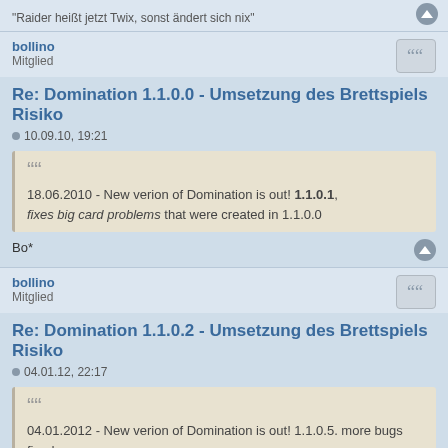"Raider heißt jetzt Twix, sonst ändert sich nix"
bollino
Mitglied
Re: Domination 1.1.0.0 - Umsetzung des Brettspiels Risiko
10.09.10, 19:21
18.06.2010 - New verion of Domination is out! 1.1.0.1, fixes big card problems that were created in 1.1.0.0
Bo*
bollino
Mitglied
Re: Domination 1.1.0.2 - Umsetzung des Brettspiels Risiko
04.01.12, 22:17
04.01.2012 - New verion of Domination is out! 1.1.0.5. more bugs fixed